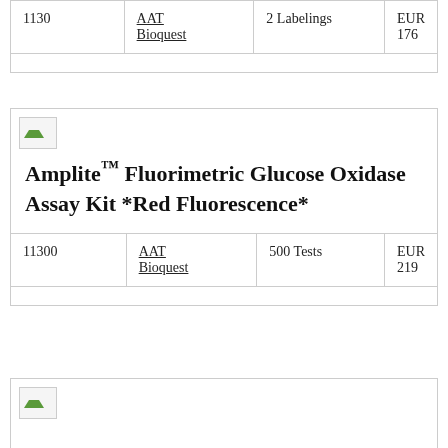| ID | Supplier | Size | Price |
| --- | --- | --- | --- |
| 1130 | AAT Bioquest | 2 Labelings | EUR 176 |
|  |  |  |  |
Amplite™ Fluorimetric Glucose Oxidase Assay Kit *Red Fluorescence*
| ID | Supplier | Size | Price |
| --- | --- | --- | --- |
| 11300 | AAT Bioquest | 500 Tests | EUR 219 |
|  |  |  |  |
[Figure (other): Product image placeholder (bottom card)]